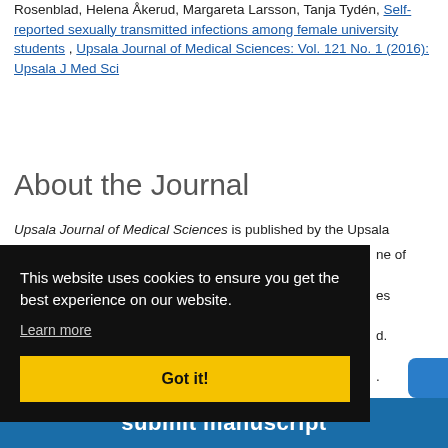Rosenblad, Helena Åkerud, Margareta Larsson, Tanja Tydén, Self-reported sexually transmitted infections among female university students, Upsala Journal of Medical Sciences: Vol. 121 No. 1 (2016): Upsala J Med Sci
About the Journal
Upsala Journal of Medical Sciences is published by the Upsala [Medical Society, one of] [the oldest medic]al societies [in the world.] [...].
[Figure (screenshot): Cookie consent banner overlay on black background with text 'This website uses cookies to ensure you get the best experience on our website.' with a 'Learn more' link and a yellow 'Got it!' button.]
submit manuscript